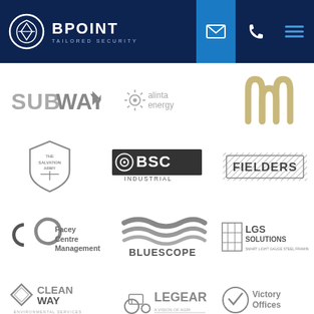[Figure (logo): BPoint Tailored Security header logo with navigation icons (email, phone, hamburger menu) on dark navy background]
[Figure (logo): Grid of client logos: Subway, Alinta Energy, McDonald's, The Salvation Army, BSC Industrial, Fielders, Facey Centre Management, BlueScope, LGS Solutions, Cleanway Environmental Services, LeGear, Victory Offices]